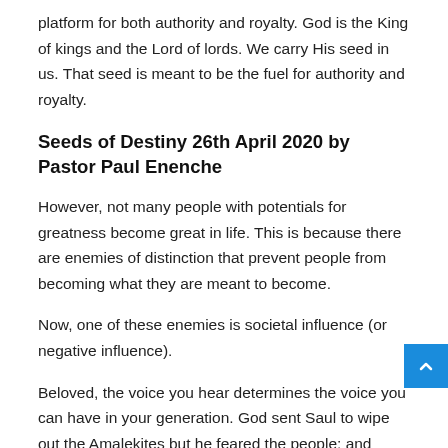platform for both authority and royalty. God is the King of kings and the Lord of lords. We carry His seed in us. That seed is meant to be the fuel for authority and royalty.
Seeds of Destiny 26th April 2020 by Pastor Paul Enenche
However, not many people with potentials for greatness become great in life. This is because there are enemies of distinction that prevent people from becoming what they are meant to become.
Now, one of these enemies is societal influence (or negative influence).
Beloved, the voice you hear determines the voice you can have in your generation. God sent Saul to wipe out the Amalekites but he feared the people; and instead of doing